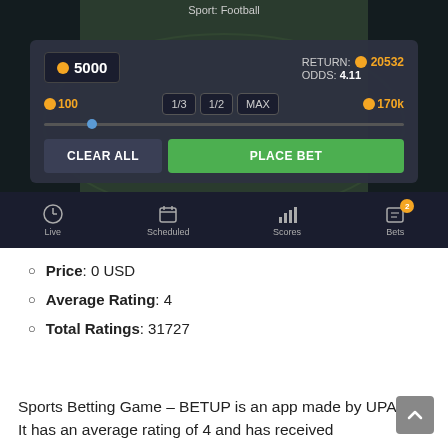[Figure (screenshot): Mobile app screenshot of Sports Betting Game BETUP showing a betting interface with Sport: Football header, a bet panel showing 5000 coins stake, Return 20532 coins, Odds 4.11, fraction buttons 1/3, 1/2, MAX, range 100 to 170k coins, slider, CLEAR ALL and PLACE BET buttons, and bottom navigation bar with Live, Scheduled, Scores, Bets (2) icons.]
Price: 0 USD
Average Rating: 4
Total Ratings: 31727
Sports Betting Game – BETUP is an app made by UPAPP. It has an average rating of 4 and has received